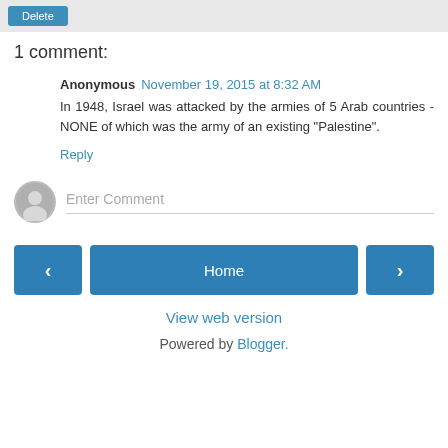1 comment:
Anonymous November 19, 2015 at 8:32 AM
In 1948, Israel was attacked by the armies of 5 Arab countries - NONE of which was the army of an existing "Palestine".
Reply
Enter Comment
Home
View web version
Powered by Blogger.